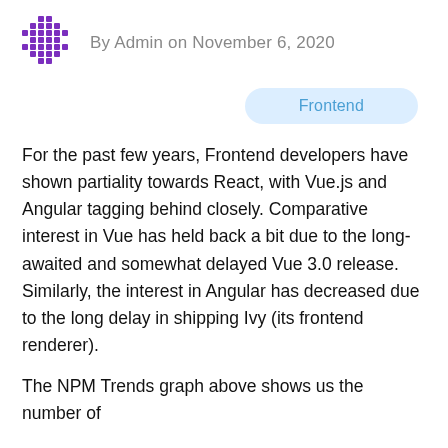By Admin on November 6, 2020
Frontend
For the past few years, Frontend developers have shown partiality towards React, with Vue.js and Angular tagging behind closely. Comparative interest in Vue has held back a bit due to the long-awaited and somewhat delayed Vue 3.0 release. Similarly, the interest in Angular has decreased due to the long delay in shipping Ivy (its frontend renderer).
The NPM Trends graph above shows us the number of